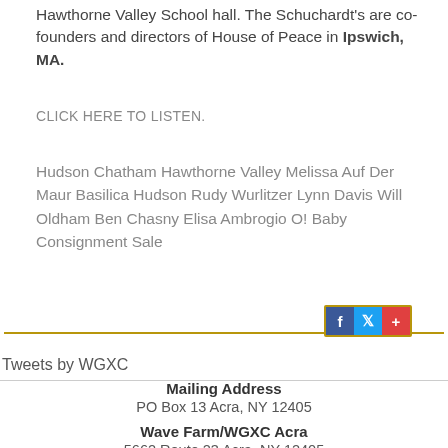Hawthorne Valley School hall. The Schuchardt's are co-founders and directors of House of Peace in Ipswich, MA.
CLICK HERE TO LISTEN.
Hudson Chatham Hawthorne Valley Melissa Auf Der Maur Basilica Hudson Rudy Wurlitzer Lynn Davis Will Oldham Ben Chasny Elisa Ambrogio O! Baby Consignment Sale
[Figure (other): Social sharing buttons: Facebook (blue), Twitter (light blue), plus/share (red), framed with a gold border, flanked by gold horizontal divider lines]
Tweets by WGXC
Mailing Address
PO Box 13 Acra, NY 12405
Wave Farm/WGXC Acra
5662 Route 23 Acra, NY 12405